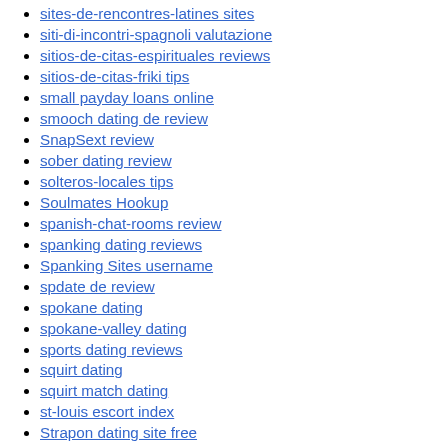sites-de-rencontres-latines sites
siti-di-incontri-spagnoli valutazione
sitios-de-citas-espirituales reviews
sitios-de-citas-friki tips
small payday loans online
smooch dating de review
SnapSext review
sober dating review
solteros-locales tips
Soulmates Hookup
spanish-chat-rooms review
spanking dating reviews
Spanking Sites username
spdate de review
spokane dating
spokane-valley dating
sports dating reviews
squirt dating
squirt match dating
st-louis escort index
Strapon dating site free
strapon-dating-de bewertung
sugar daddy dating review
sugar momma dating reviews
sugar-daddies-uk sign in